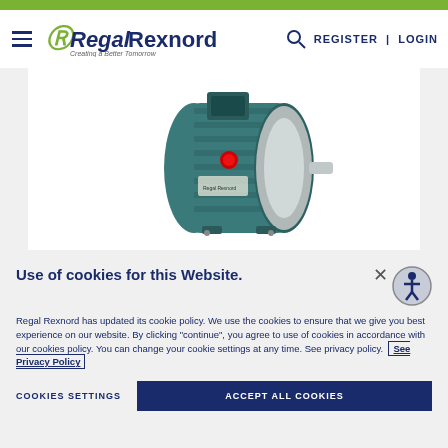Regal Rexnord - Creating a Better Tomorrow | REGISTER | LOGIN
[Figure (photo): Regal Rexnord electric motor (teal/green casing with red button and silver face/shaft), product photo on white background]
Use of cookies for this Website.
Regal Rexnord has updated its cookie policy. We use the cookies to ensure that we give you best experience on our website. By clicking "continue", you agree to use of cookies in accordance with our cookies policy. You can change your cookie settings at any time. See privacy policy. See Privacy Policy
COOKIES SETTINGS
ACCEPT ALL COOKIES